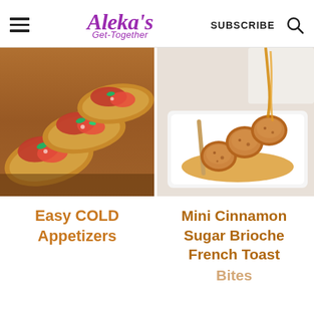Aleka's Get-Together | SUBSCRIBE | Search
[Figure (photo): Bruschetta appetizers with tomato and herb topping on toasted bread slices on a wooden board]
[Figure (photo): Mini cinnamon sugar brioche French toast bites on a skewer with honey being poured over them on a white plate]
Easy COLD Appetizers
Mini Cinnamon Sugar Brioche French Toast Bites